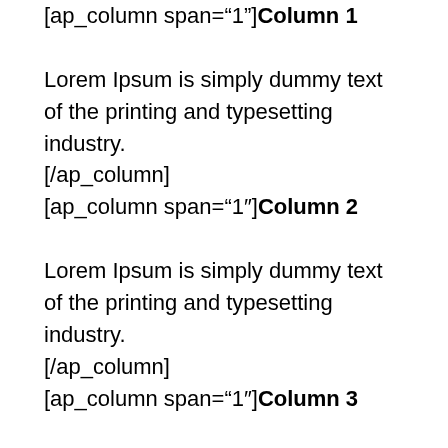[ap_column span="1"]Column 1

Lorem Ipsum is simply dummy text of the printing and typesetting industry.
[/ap_column]
[ap_column span="1"]Column 2

Lorem Ipsum is simply dummy text of the printing and typesetting industry.
[/ap_column]
[ap_column span="1"]Column 3

Lorem Ipsum is simply dummy text of the printing and typesetting industry.
[/ap_column]
[ap_column span="1"]Column 4